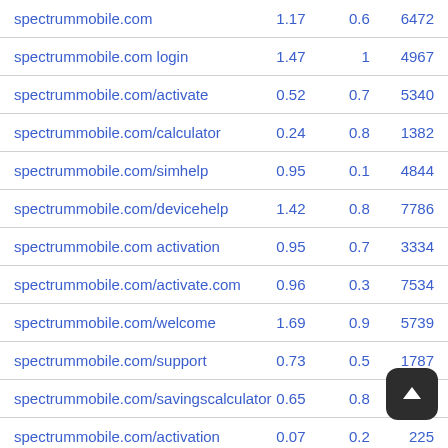|  |  |  |  |
| --- | --- | --- | --- |
| spectrummobile.com | 1.17 | 0.6 | 6472 |
| spectrummobile.com login | 1.47 | 1 | 4967 |
| spectrummobile.com/activate | 0.52 | 0.7 | 5340 |
| spectrummobile.com/calculator | 0.24 | 0.8 | 1382 |
| spectrummobile.com/simhelp | 0.95 | 0.1 | 4844 |
| spectrummobile.com/devicehelp | 1.42 | 0.8 | 7786 |
| spectrummobile.com activation | 0.95 | 0.7 | 3334 |
| spectrummobile.com/activate.com | 0.96 | 0.3 | 7534 |
| spectrummobile.com/welcome | 1.69 | 0.9 | 5739 |
| spectrummobile.com/support | 0.73 | 0.5 | 1787 |
| spectrummobile.com/savingscalculator | 0.65 | 0.8 |  |
| spectrummobile.com/activation | 0.07 | 0.2 | 225 |